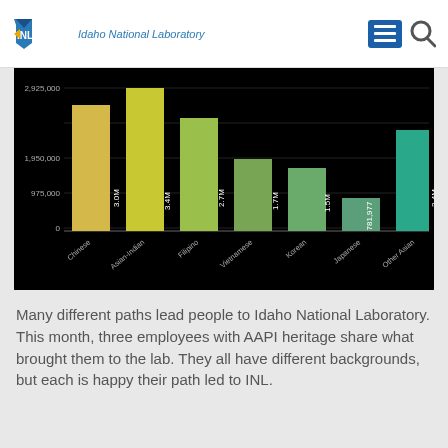INL Idaho National Laboratory
[Figure (bar-chart): Asian American populations by group]
Many different paths lead people to Idaho National Laboratory. This month, three employees with AAPI heritage share what brought them to the lab. They all have different backgrounds, but each is happy their path led to INL.